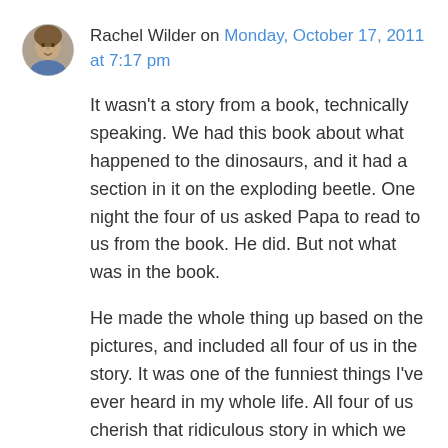[Figure (photo): Small circular avatar photo of a woman, Rachel Wilder]
Rachel Wilder on Monday, October 17, 2011 at 7:17 pm
It wasn't a story from a book, technically speaking. We had this book about what happened to the dinosaurs, and it had a section in it on the exploding beetle. One night the four of us asked Papa to read to us from the book. He did. But not what was in the book.
He made the whole thing up based on the pictures, and included all four of us in the story. It was one of the funniest things I've ever heard in my whole life. All four of us cherish that ridiculous story in which we all became exploding beetles and blew ourselves up.